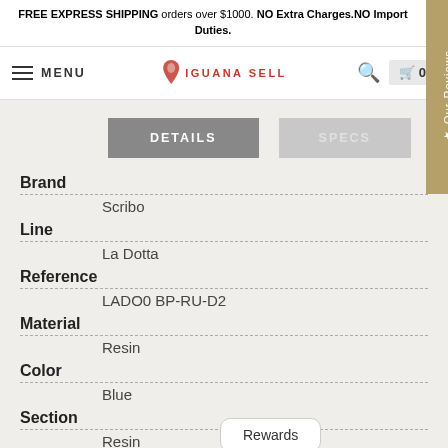FREE EXPRESS SHIPPING orders over $1000. NO Extra Charges.NO Import Duties.
MENU — IGUANA SELL — 0
DETAILS | SPECS
| Field | Value |
| --- | --- |
| Brand | Scribo |
| Line | La Dotta |
| Reference | LADO0 BP-RU-D2 |
| Material | Resin |
| Color | Blue |
| Section | Resin |